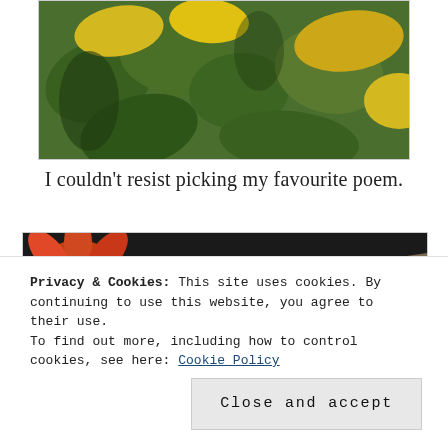[Figure (photo): Cropped top image showing yellow and green leaves/sunflowers, partially visible at the top of the page]
I couldn't resist picking my favourite poem.
[Figure (photo): Close-up photo of an orange/red flower (gaillardia or similar) next to weathered wood with snow or frost]
Privacy & Cookies: This site uses cookies. By continuing to use this website, you agree to their use. To find out more, including how to control cookies, see here: Cookie Policy
Close and accept